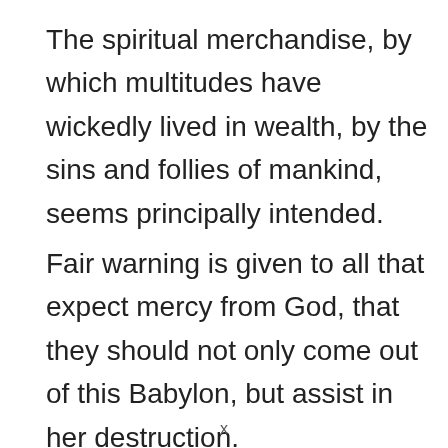The spiritual merchandise, by which multitudes have wickedly lived in wealth, by the sins and follies of mankind, seems principally intended.
Fair warning is given to all that expect mercy from God, that they should not only come out of this Babylon, but assist in her destruction.
x